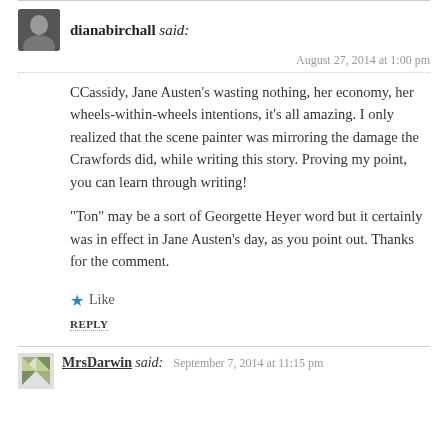dianabirchall said:
August 27, 2014 at 1:00 pm
CCassidy, Jane Austen’s wasting nothing, her economy, her wheels-within-wheels intentions, it’s all amazing. I only realized that the scene painter was mirroring the damage the Crawfords did, while writing this story. Proving my point, you can learn through writing!
“Ton” may be a sort of Georgette Heyer word but it certainly was in effect in Jane Austen’s day, as you point out. Thanks for the comment.
Like
REPLY
MrsDarwin said: September 7, 2014 at 11:15 pm